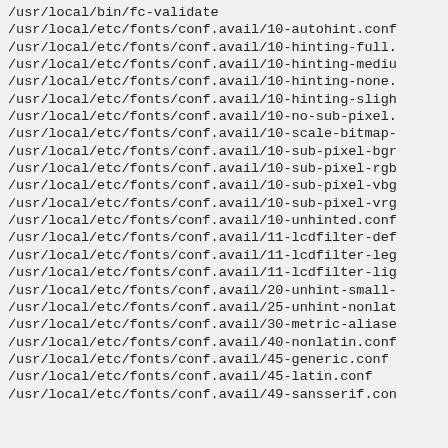/usr/local/bin/fc-validate
/usr/local/etc/fonts/conf.avail/10-autohint.conf
/usr/local/etc/fonts/conf.avail/10-hinting-full.
/usr/local/etc/fonts/conf.avail/10-hinting-mediu
/usr/local/etc/fonts/conf.avail/10-hinting-none.
/usr/local/etc/fonts/conf.avail/10-hinting-sligh
/usr/local/etc/fonts/conf.avail/10-no-sub-pixel.
/usr/local/etc/fonts/conf.avail/10-scale-bitmap-
/usr/local/etc/fonts/conf.avail/10-sub-pixel-bgr
/usr/local/etc/fonts/conf.avail/10-sub-pixel-rgb
/usr/local/etc/fonts/conf.avail/10-sub-pixel-vbg
/usr/local/etc/fonts/conf.avail/10-sub-pixel-vrg
/usr/local/etc/fonts/conf.avail/10-unhinted.conf
/usr/local/etc/fonts/conf.avail/11-lcdfilter-def
/usr/local/etc/fonts/conf.avail/11-lcdfilter-leg
/usr/local/etc/fonts/conf.avail/11-lcdfilter-lig
/usr/local/etc/fonts/conf.avail/20-unhint-small-
/usr/local/etc/fonts/conf.avail/25-unhint-nonlat
/usr/local/etc/fonts/conf.avail/30-metric-aliase
/usr/local/etc/fonts/conf.avail/40-nonlatin.conf
/usr/local/etc/fonts/conf.avail/45-generic.conf
/usr/local/etc/fonts/conf.avail/45-latin.conf
/usr/local/etc/fonts/conf.avail/49-sansserif.con